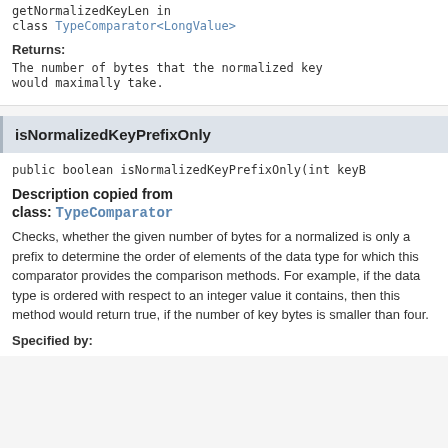getNormalizedKeyLen in
class TypeComparator<LongValue>
Returns:
The number of bytes that the normalized key would maximally take.
isNormalizedKeyPrefixOnly
public boolean isNormalizedKeyPrefixOnly(int keyB
Description copied from
class: TypeComparator
Checks, whether the given number of bytes for a normalized is only a prefix to determine the order of elements of the data type for which this comparator provides the comparison methods. For example, if the data type is ordered with respect to an integer value it contains, then this method would return true, if the number of key bytes is smaller than four.
Specified by: